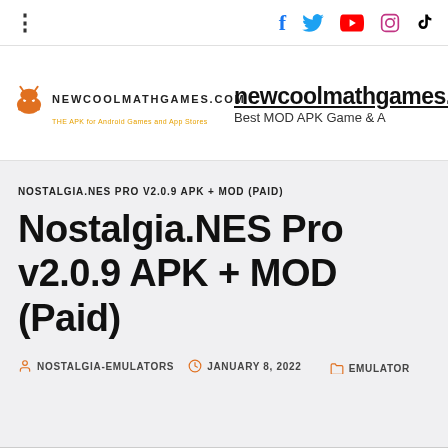NEWCOOLMATHGAMES.COM — newcoolmathgames.c... Best MOD APK Game & A...
NOSTALGIA.NES PRO V2.0.9 APK + MOD (PAID)
Nostalgia.NES Pro v2.0.9 APK + MOD (Paid)
NOSTALGIA-EMULATORS  JANUARY 8, 2022  EMULATOR